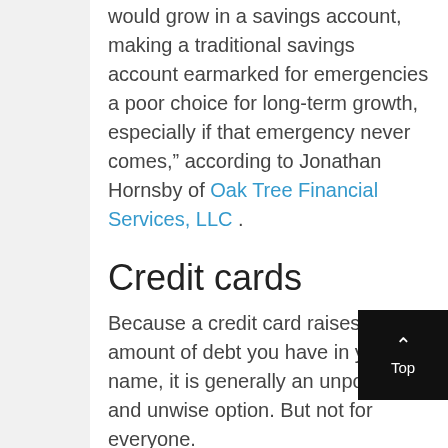would grow in a savings account, making a traditional savings account earmarked for emergencies a poor choice for long-term growth, especially if that emergency never comes,” according to Jonathan Hornsby of Oak Tree Financial Services, LLC .
Credit cards
Because a credit card raises the amount of debt you have in your name, it is generally an unpopular and unwise option. But not for everyone.